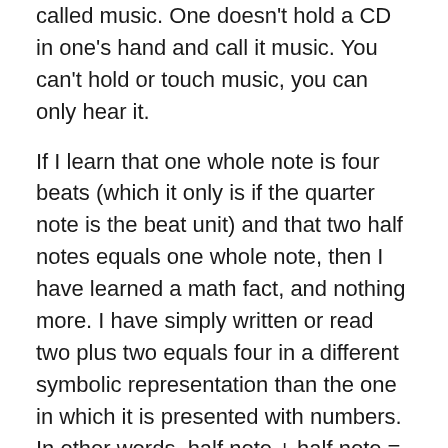called music. One doesn't hold a CD in one's hand and call it music. You can't hold or touch music, you can only hear it.
If I learn that one whole note is four beats (which it only is if the quarter note is the beat unit) and that two half notes equals one whole note, then I have learned a math fact, and nothing more. I have simply written or read two plus two equals four in a different symbolic representation than the one in which it is presented with numbers. In other words, half note + half note = whole note, is just 2 + 2 = 4 written in a different “language.” Yet many of the music theory workbooks present these kinds of problems, masquerading them as music learning activities. Masquerading, because students are solving the math problem with paper and pencil, without ever hearing the sounds, the durations, that these symbols represent.